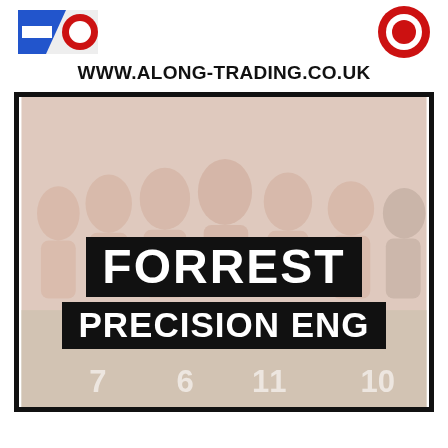[Figure (logo): Logo on upper left (blue/red diagonal stripes)]
[Figure (logo): Logo on upper right (red circular badge)]
WWW.ALONG-TRADING.CO.UK
[Figure (photo): Faded background photo of football team celebrating in orange/amber shirts with jersey numbers 6, 11, 10 visible. Overlaid with black banners reading FORREST PRECISION ENG in white bold text.]